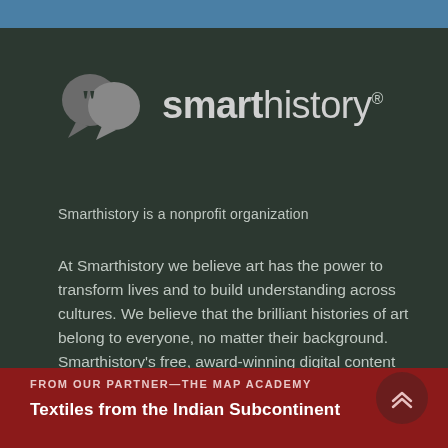[Figure (logo): Smarthistory logo with speech bubble icon and registered trademark symbol]
Smarthistory is a nonprofit organization
At Smarthistory we believe art has the power to transform lives and to build understanding across cultures. We believe that the brilliant histories of art belong to everyone, no matter their background. Smarthistory's free, award-winning digital content unlocks the expertise of hundreds of leading
FROM OUR PARTNER—THE MAP ACADEMY
Textiles from the Indian Subcontinent